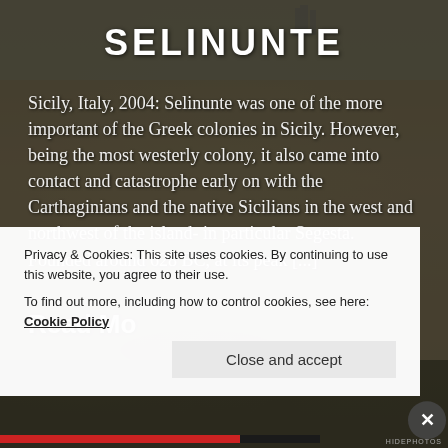[Figure (photo): Background photo of Selinunte archaeological ruins in Sicily, showing stone columns and rocky landscape with vegetation, overlaid with dark semi-transparent filter]
SELINUNTE
Sicily, Italy, 2004: Selinunte was one of the more important of the Greek colonies in Sicily. However, being the most westerly colony, it also came into contact and catastrophe early on with the Carthaginians and the native Sicilians in the west and northwest of the island- in particular Segesta. Founded around 628 BC, at its peak [...]
Read Mo
Privacy & Cookies: This site uses cookies. By continuing to use this website, you agree to their use.
To find out more, including how to control cookies, see here: Cookie Policy
Close and accept